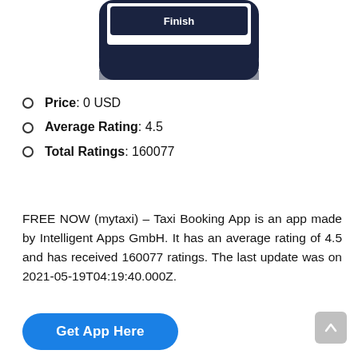[Figure (screenshot): Partial screenshot of a mobile phone showing a 'Finish' button on a dark navy blue background, cropped at the top of the page.]
Price: 0 USD
Average Rating: 4.5
Total Ratings: 160077
FREE NOW (mytaxi) – Taxi Booking App is an app made by Intelligent Apps GmbH. It has an average rating of 4.5 and has received 160077 ratings. The last update was on 2021-05-19T04:19:40.000Z.
Get App Here